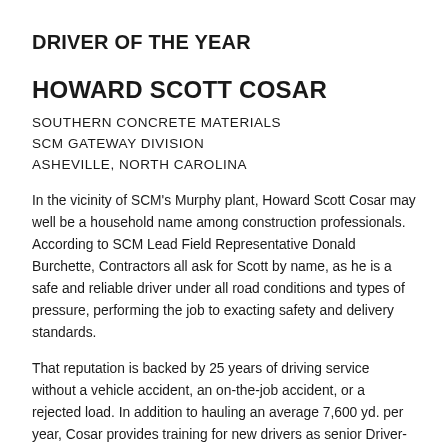DRIVER OF THE YEAR
HOWARD SCOTT COSAR
SOUTHERN CONCRETE MATERIALS
SCM GATEWAY DIVISION
ASHEVILLE, NORTH CAROLINA
In the vicinity of SCM's Murphy plant, Howard Scott Cosar may well be a household name among construction professionals. According to SCM Lead Field Representative Donald Burchette, Contractors all ask for Scott by name, as he is a safe and reliable driver under all road conditions and types of pressure, performing the job to exacting safety and delivery standards.
That reputation is backed by 25 years of driving service without a vehicle accident, an on-the-job accident, or a rejected load. In addition to hauling an average 7,600 yd. per year, Cosar provides training for new drivers as senior Driver-Instructor in the SCM